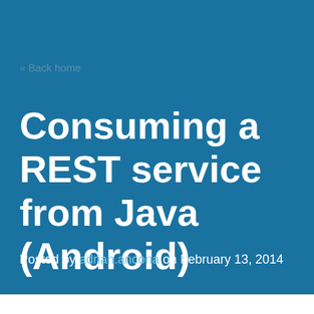« Back home
Consuming a REST service from Java (Android)
Posted by adrian.ancona on February 13, 2014